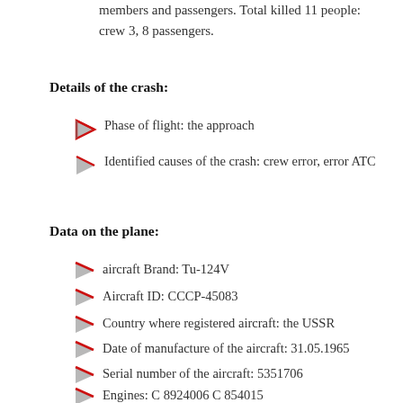members and passengers. Total killed 11 people: crew 3, 8 passengers.
Details of the crash:
Phase of flight: the approach
Identified causes of the crash: crew error, error ATC
Data on the plane:
aircraft Brand: Tu-124V
Aircraft ID: CCCP-45083
Country where registered aircraft: the USSR
Date of manufacture of the aircraft: 31.05.1965
Serial number of the aircraft: 5351706
Hours aircraft: 7425
The cycles of use of the aircraft: 5854
Engines: C 8924006 C 854015